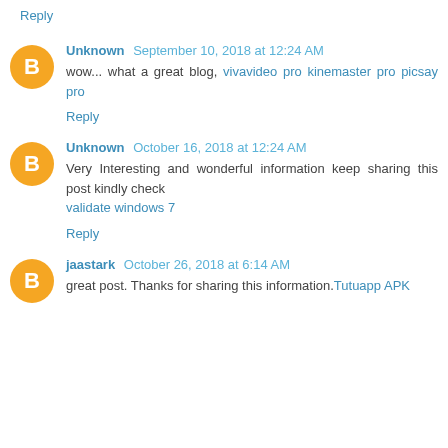Reply
Unknown September 10, 2018 at 12:24 AM
wow... what a great blog, vivavideo pro kinemaster pro picsay pro
Reply
Unknown October 16, 2018 at 12:24 AM
Very Interesting and wonderful information keep sharing this post kindly check
validate windows 7
Reply
jaastark October 26, 2018 at 6:14 AM
great post. Thanks for sharing this information.Tutuapp APK